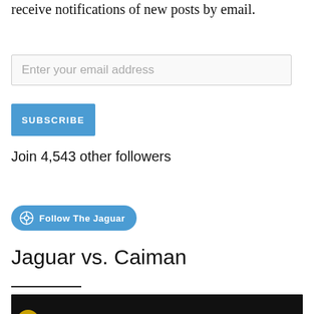receive notifications of new posts by email.
Enter your email address
SUBSCRIBE
Join 4,543 other followers
[Figure (other): Follow The Jaguar button with WordPress logo on blue rounded rectangle]
Jaguar vs. Caiman
[Figure (screenshot): Thumbnail image showing Jaguar Attacks Crocodile Cousin video with National Geographic logo circle]